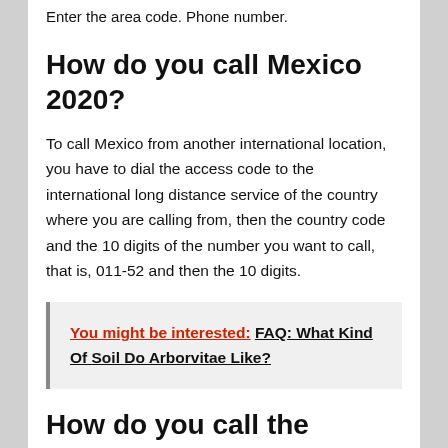Enter the area code. Phone number.
How do you call Mexico 2020?
To call Mexico from another international location, you have to dial the access code to the international long distance service of the country where you are calling from, then the country code and the 10 digits of the number you want to call, that is, 011-52 and then the 10 digits.
You might be interested:  FAQ: What Kind Of Soil Do Arborvitae Like?
How do you call the...